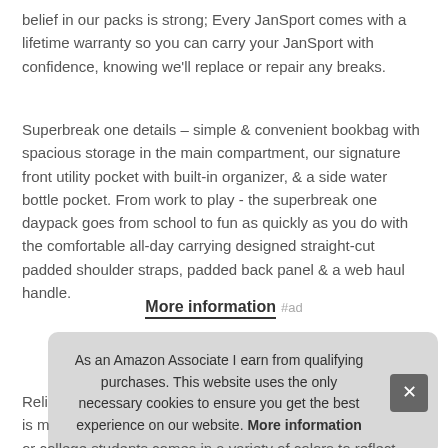belief in our packs is strong; Every JanSport comes with a lifetime warranty so you can carry your JanSport with confidence, knowing we'll replace or repair any breaks.
Superbreak one details – simple & convenient bookbag with spacious storage in the main compartment, our signature front utility pocket with built-in organizer, & a side water bottle pocket. From work to play - the superbreak one daypack goes from school to fun as quickly as you do with the comfortable all-day carrying designed straight-cut padded shoulder straps, padded back panel & a web haul handle.
More information #ad
As an Amazon Associate I earn from qualifying purchases. This website uses the only necessary cookies to ensure you get the best experience on our website. More information
Reli... is m... or college students comes in a variety of colors to reflect your